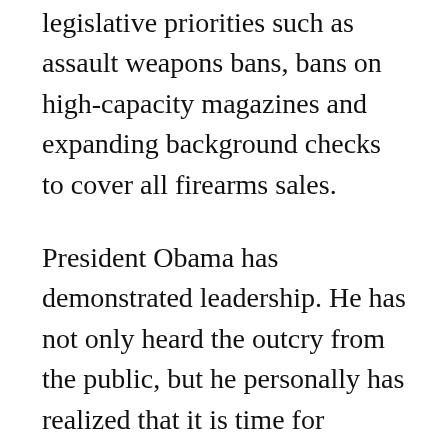combat gun violence. Many things seem to be on the table, including new legislative priorities such as assault weapons bans, bans on high-capacity magazines and expanding background checks to cover all firearms sales.
President Obama has demonstrated leadership. He has not only heard the outcry from the public, but he personally has realized that it is time for action. An eager nation is counting on him to lead.
Contrast that with Gov. Tom Corbett, who, taking a page from the National Rifle